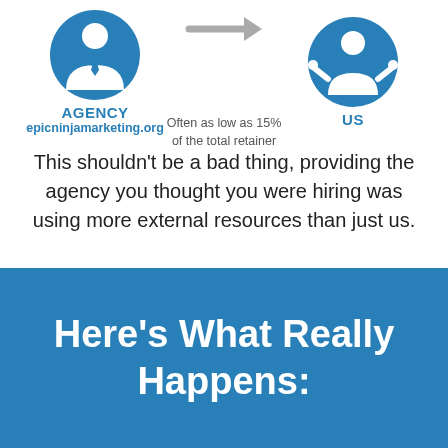[Figure (infographic): Infographic showing AGENCY icon (person in suit in blue circle) with an arrow pointing right toward US icon (person with arms spread in blue circle). Text between them reads 'Often as low as 15% of the total retainer'. Below the agency icon: 'AGENCY' and 'epicninjamarketing.org'. Below the US icon: 'US'.]
This shouldn't be a bad thing, providing the agency you thought you were hiring was using more external resources than just us.
Here's What Really Happens: